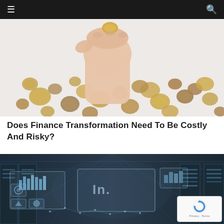Navigation bar with menu and search icons
[Figure (photo): A hand holding coins above a scattered pile of various coins on a white background]
Does Finance Transformation Need To Be Costly And Risky?
[Figure (photo): A data center corridor with glowing holographic digital interface panels showing charts and icons overlaid on the scene]